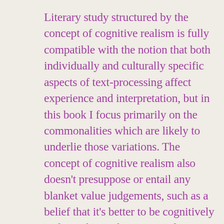Literary study structured by the concept of cognitive realism is fully compatible with the notion that both individually and culturally specific aspects of text-processing affect experience and interpretation, but in this book I focus primarily on the commonalities which are likely to underlie those variations. The concept of cognitive realism also doesn't presuppose or entail any blanket value judgements, such as a belief that it's better to be cognitively realistic than to be cognitively unrealistic. Classification of texts according to categories such as cognitively realistic and cognitively unrealistic should be a means rather than an end: that is, it should be something that allows us to ask and